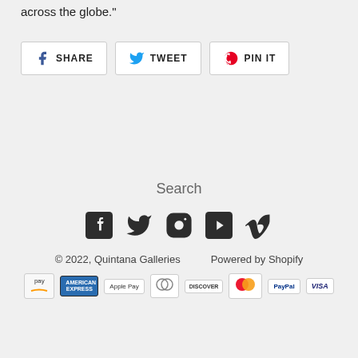across the globe."
SHARE  TWEET  PIN IT
Search
[Figure (infographic): Social media icons: Facebook, Twitter, Instagram, YouTube, Vimeo]
© 2022, Quintana Galleries    Powered by Shopify
[Figure (infographic): Payment method icons: Amazon Pay, American Express, Apple Pay, Diners Club, Discover, Mastercard, PayPal, Visa]